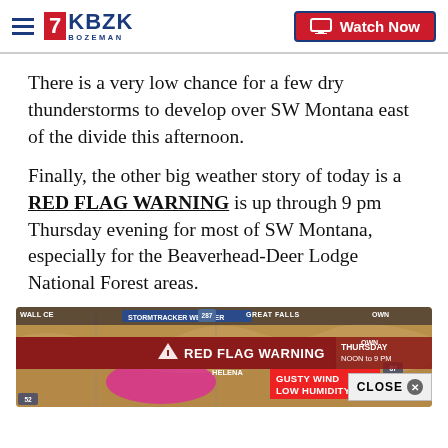KBZK BOZEMAN — Watch Now
There is a very low chance for a few dry thunderstorms to develop over SW Montana east of the divide this afternoon.
Finally, the other big weather story of today is a RED FLAG WARNING is up through 9 pm Thursday evening for most of SW Montana, especially for the Beaverhead-Deer Lodge National Forest areas.
[Figure (screenshot): Weather map screenshot showing RED FLAG WARNING banner for Thursday Noon to 9 PM, with GUSTY WIND LOW HUMIDITY overlay, showing Montana map with Helena and Great Falls labeled.]